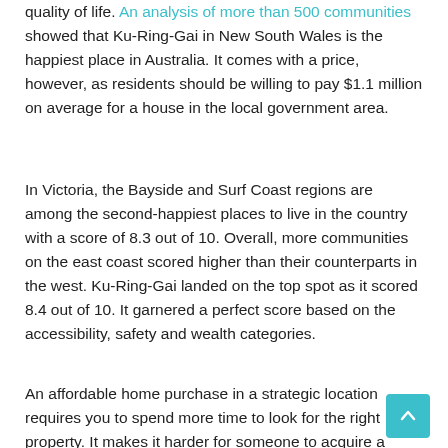quality of life. An analysis of more than 500 communities showed that Ku-Ring-Gai in New South Wales is the happiest place in Australia. It comes with a price, however, as residents should be willing to pay $1.1 million on average for a house in the local government area.
In Victoria, the Bayside and Surf Coast regions are among the second-happiest places to live in the country with a score of 8.3 out of 10. Overall, more communities on the east coast scored higher than their counterparts in the west. Ku-Ring-Gai landed on the top spot as it scored 8.4 out of 10. It garnered a perfect score based on the accessibility, safety and wealth categories.
An affordable home purchase in a strategic location requires you to spend more time to look for the right property. It makes it harder for someone to acquire a